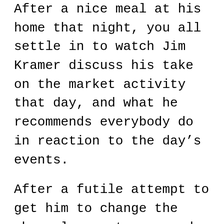After a nice meal at his home that night, you all settle in to watch Jim Kramer discuss his take on the market activity that day, and what he recommends everybody do in reaction to the day's events.
After a futile attempt to get him to change the channel over to a comedy show that you can all watch, you gently ask him if he “paid this much attention to the market every day.”
“Of course,” he said.  “Don’t you?”
After replying that you don’t, you then ask